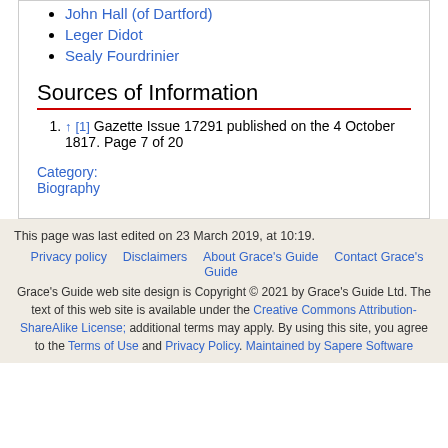John Hall (of Dartford)
Leger Didot
Sealy Fourdrinier
Sources of Information
↑ [1] Gazette Issue 17291 published on the 4 October 1817. Page 7 of 20
Category: Biography
This page was last edited on 23 March 2019, at 10:19.
Privacy policy · Disclaimers · About Grace's Guide · Contact Grace's Guide
Grace's Guide web site design is Copyright © 2021 by Grace's Guide Ltd. The text of this web site is available under the Creative Commons Attribution-ShareAlike License; additional terms may apply. By using this site, you agree to the Terms of Use and Privacy Policy. Maintained by Sapere Software